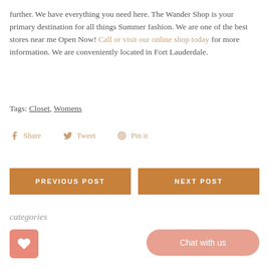further. We have everything you need here. The Wander Shop is your primary destination for all things Summer fashion. We are one of the best stores near me Open Now! Call or visit our online shop today for more information. We are conveniently located in Fort Lauderdale.
Tags: Closet, Womens
Share   Tweet   Pin it
PREVIOUS POST
NEXT POST
categories
Artist
Chat with us